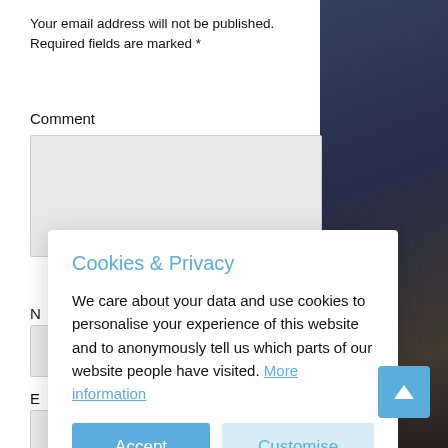Your email address will not be published. Required fields are marked *
Comment
Cookies & Privacy
We care about your data and use cookies to personalise your experience of this website and to anonymously tell us which parts of our website people have visited. More information
Accept Cookies
Customise Cookies